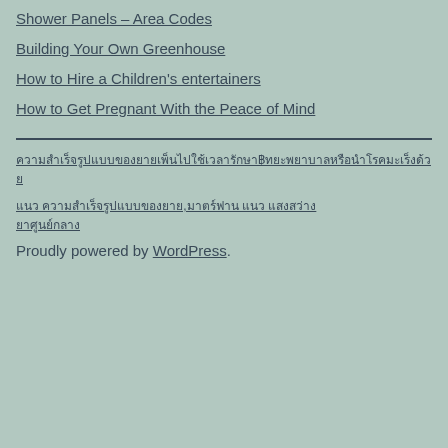Shower Panels – Area Codes
Building Your Own Greenhouse
How to Hire a Children's entertainers
How to Get Pregnant With the Peace of Mind
Thai language link (long script text line 1)
Thai language link (long script text line 2)
Proudly powered by WordPress.